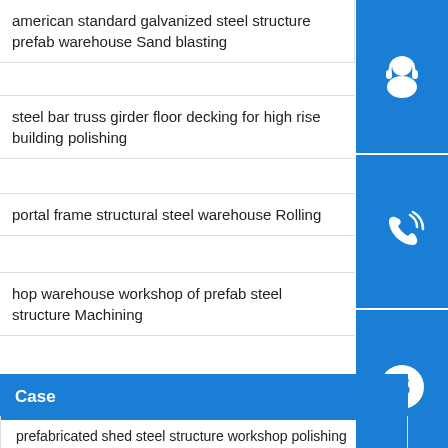american standard galvanized steel structure prefab warehouse Sand blasting
steel bar truss girder floor decking for high rise building polishing
portal frame structural steel warehouse Rolling
hop warehouse workshop of prefab steel structure Machining
[Figure (illustration): Three stacked dark blue icon buttons: headset/customer service icon, phone with signal waves icon, Skype logo icon]
Case
prefabricated shed steel structure workshop polishing